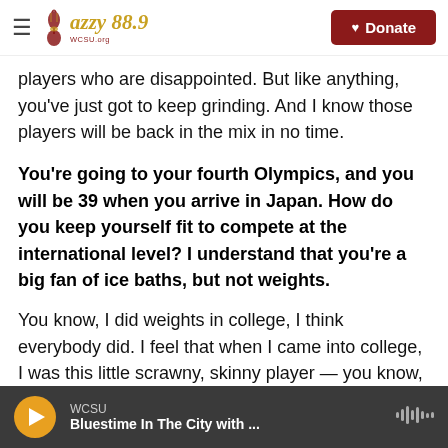Jazzy 88.9 | WCSU.org — Donate
players who are disappointed. But like anything, you've just got to keep grinding. And I know those players will be back in the mix in no time.
You're going to your fourth Olympics, and you will be 39 when you arrive in Japan. How do you keep yourself fit to compete at the international level? I understand that you're a big fan of ice baths, but not weights.
You know, I did weights in college, I think everybody did. I feel that when I came into college, I was this little scrawny, skinny player — you know, agile and
WCSU — Bluestime In The City with ...